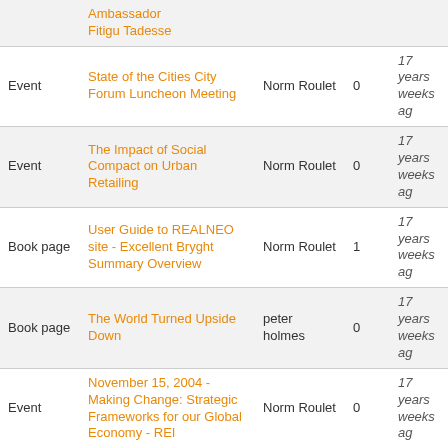| Type | Title | Author | Comments | Last updated |
| --- | --- | --- | --- | --- |
|  | Ambassador Fitigu Tadesse |  |  |  |
| Event | State of the Cities City Forum Luncheon Meeting | Norm Roulet | 0 | 17 years weeks ag |
| Event | The Impact of Social Compact on Urban Retailing | Norm Roulet | 0 | 17 years weeks ag |
| Book page | User Guide to REALNEO site - Excellent Bryght Summary Overview | Norm Roulet | 1 | 17 years weeks ag |
| Book page | The World Turned Upside Down | peter holmes | 0 | 17 years weeks ag |
| Event | November 15, 2004 - Making Change: Strategic Frameworks for our Global Economy - REI | Norm Roulet | 0 | 17 years weeks ag |
| Book page | Attendee List - Register with REALNEO for Updates | Norm Roulet | 0 | 17 years weeks ag |
|  | 1:00 â€“ 2:00 - |  |  |  |